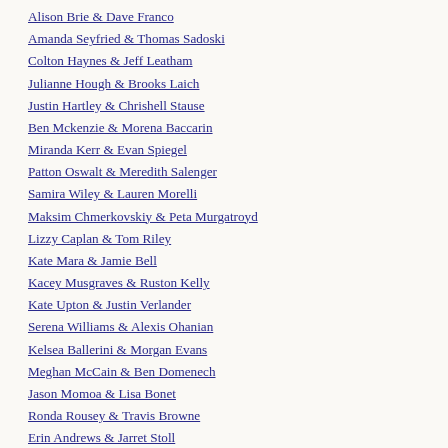Alison Brie & Dave Franco
Amanda Seyfried & Thomas Sadoski
Colton Haynes & Jeff Leatham
Julianne Hough & Brooks Laich
Justin Hartley & Chrishell Stause
Ben Mckenzie & Morena Baccarin
Miranda Kerr & Evan Spiegel
Patton Oswalt & Meredith Salenger
Samira Wiley & Lauren Morelli
Maksim Chmerkovskiy & Peta Murgatroyd
Lizzy Caplan & Tom Riley
Kate Mara & Jamie Bell
Kacey Musgraves & Ruston Kelly
Kate Upton & Justin Verlander
Serena Williams & Alexis Ohanian
Kelsea Ballerini & Morgan Evans
Meghan McCain & Ben Domenech
Jason Momoa & Lisa Bonet
Ronda Rousey & Travis Browne
Erin Andrews & Jarret Stoll
Emmy Rossum & Sam Esmail
Hannah Simone & Jesse Giddings
Nicky Whelan & Kerry Rhodes
Phillipa Soo & Steven Pasquale